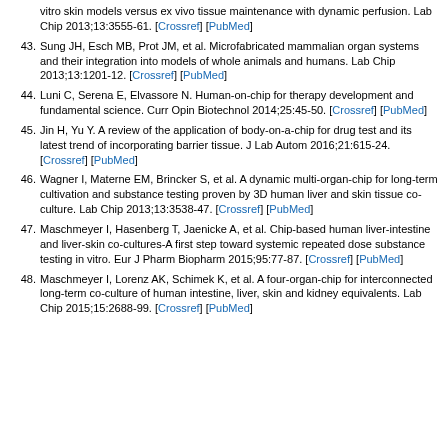vitro skin models versus ex vivo tissue maintenance with dynamic perfusion. Lab Chip 2013;13:3555-61. [Crossref] [PubMed]
43. Sung JH, Esch MB, Prot JM, et al. Microfabricated mammalian organ systems and their integration into models of whole animals and humans. Lab Chip 2013;13:1201-12. [Crossref] [PubMed]
44. Luni C, Serena E, Elvassore N. Human-on-chip for therapy development and fundamental science. Curr Opin Biotechnol 2014;25:45-50. [Crossref] [PubMed]
45. Jin H, Yu Y. A review of the application of body-on-a-chip for drug test and its latest trend of incorporating barrier tissue. J Lab Autom 2016;21:615-24. [Crossref] [PubMed]
46. Wagner I, Materne EM, Brincker S, et al. A dynamic multi-organ-chip for long-term cultivation and substance testing proven by 3D human liver and skin tissue co-culture. Lab Chip 2013;13:3538-47. [Crossref] [PubMed]
47. Maschmeyer I, Hasenberg T, Jaenicke A, et al. Chip-based human liver-intestine and liver-skin co-cultures-A first step toward systemic repeated dose substance testing in vitro. Eur J Pharm Biopharm 2015;95:77-87. [Crossref] [PubMed]
48. Maschmeyer I, Lorenz AK, Schimek K, et al. A four-organ-chip for interconnected long-term co-culture of human intestine, liver, skin and kidney equivalents. Lab Chip 2015;15:2688-99. [Crossref] [PubMed]